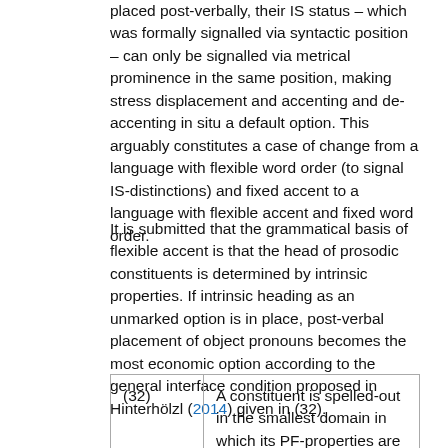placed post-verbally, their IS status – which was formally signalled via syntactic position – can only be signalled via metrical prominence in the same position, making stress displacement and accenting and de-accenting in situ a default option. This arguably constitutes a case of change from a language with flexible word order (to signal IS-distinctions) and fixed accent to a language with flexible accent and fixed word order.
It is submitted that the grammatical basis of flexible accent is that the head of prosodic constituents is determined by intrinsic properties. If intrinsic heading as an unmarked option is in place, post-verbal placement of object pronouns becomes the most economic option according to the general interface condition proposed in Hinterhölzl (2014) given in (32).
| (32) | A constituent is spelled-out in the smallest domain in which its PF-properties are satisfied in an unmarked fashion |